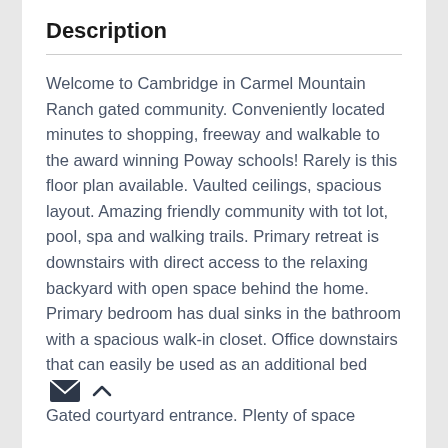Description
Welcome to Cambridge in Carmel Mountain Ranch gated community. Conveniently located minutes to shopping, freeway and walkable to the award winning Poway schools! Rarely is this floor plan available. Vaulted ceilings, spacious layout. Amazing friendly community with tot lot, pool, spa and walking trails. Primary retreat is downstairs with direct access to the relaxing backyard with open space behind the home. Primary bedroom has dual sinks in the bathroom with a spacious walk-in closet. Office downstairs that can easily be used as an additional bed Gated courtyard entrance. Plenty of space